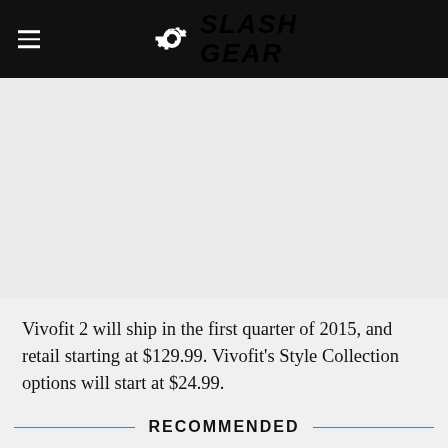SlashGear
[Figure (photo): Large image placeholder area (light gray background, image not visible)]
Vivofit 2 will ship in the first quarter of 2015, and retail starting at $129.99. Vivofit's Style Collection options will start at $24.99.
RECOMMENDED